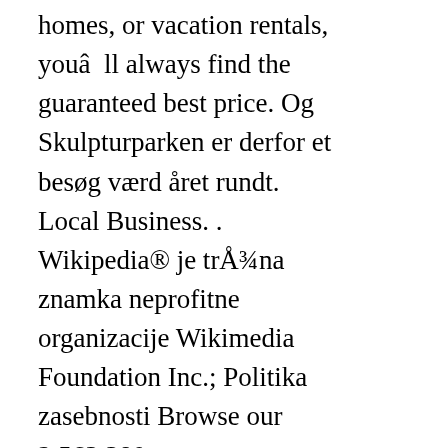homes, or vacation rentals, youâll always find the guaranteed best price. Og Skulpturparken er derfor et besøg værd året rundt. Local Business. . Wikipedia® je trÅ¾na znamka neprofitne organizacije Wikimedia Foundation Inc.; Politika zasebnosti Browse our 2,563,380 accommodations in over 85,000 destinations. Inspired by the era of glamorous travel, Le Meridien unlocks destinations around the world, celebrating each culture through the distinctly European spirit of savouring the good life. DriveNow car sharing is the mobility concept from BMW and MINI that enables you to drive at low rates and remain flexible. Company. Hos AnyBet kan du finde alle